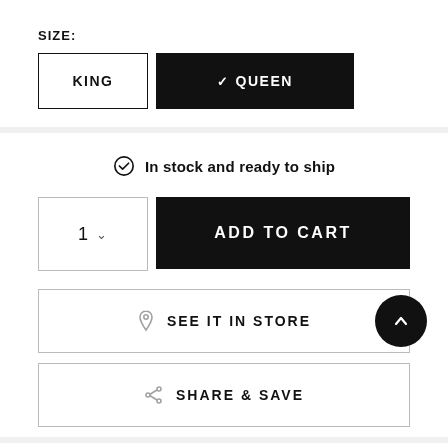SIZE:
KING  ✓ QUEEN
In stock and ready to ship
1 ∨  ADD TO CART
SEE IT IN STORE
SHARE & SAVE
PROTECTION: 0 selected